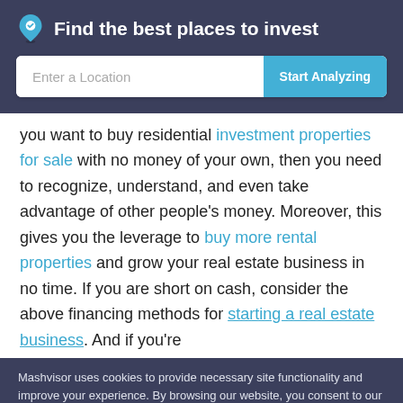Find the best places to invest
you want to buy residential investment properties for sale with no money of your own, then you need to recognize, understand, and even take advantage of other people's money. Moreover, this gives you the leverage to buy more rental properties and grow your real estate business in no time. If you are short on cash, consider the above financing methods for starting a real estate business. And if you're
Mashvisor uses cookies to provide necessary site functionality and improve your experience. By browsing our website, you consent to our use of cookies. To learn more please refer to our cookie policy